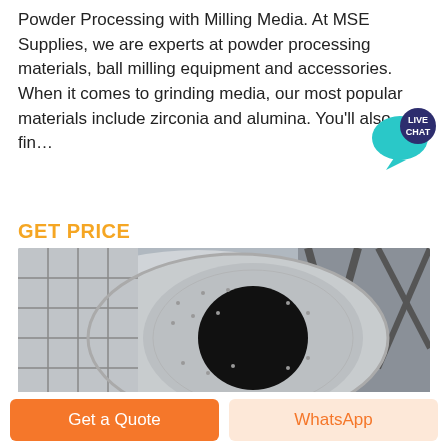Powder Processing with Milling Media. At MSE Supplies, we are experts at powder processing materials, ball milling equipment and accessories. When it comes to grinding media, our most popular materials include zirconia and alumina. You'll also fin...
[Figure (logo): Live Chat speech bubble badge in teal/dark blue with text LIVE CHAT]
GET PRICE
[Figure (photo): Industrial ball mill equipment showing a large cylindrical drum with a circular opening (black interior), tiled/segmented metallic exterior and industrial factory background]
Get a Quote
WhatsApp